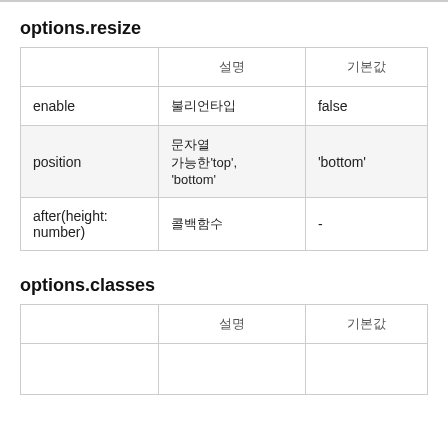options.resize
|  | 설명 | 기본값 |
| --- | --- | --- |
| enable | 불리언타입 | false |
| position | 문자열
가능한'top', 'bottom' | 'bottom' |
| after(height: number) | 콜백함수 | - |
options.classes
|  | 설명 | 기본값 |
| --- | --- | --- |